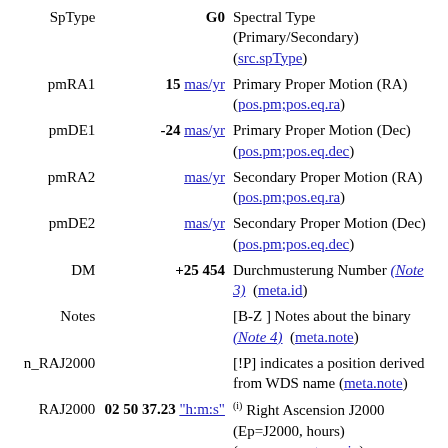| Field | Value | Description |
| --- | --- | --- |
| SpType | G0 | Spectral Type (Primary/Secondary) (src.spType) |
| pmRA1 | 15 mas/yr | Primary Proper Motion (RA) (pos.pm;pos.eq.ra) |
| pmDE1 | -24 mas/yr | Primary Proper Motion (Dec) (pos.pm;pos.eq.dec) |
| pmRA2 | mas/yr | Secondary Proper Motion (RA) (pos.pm;pos.eq.ra) |
| pmDE2 | mas/yr | Secondary Proper Motion (Dec) (pos.pm;pos.eq.dec) |
| DM | +25 454 | Durchmusterung Number (Note 3) (meta.id) |
| Notes |  | [B-Z ] Notes about the binary (Note 4) (meta.note) |
| n_RAJ2000 |  | [!P] indicates a position derived from WDS name (meta.note) |
| RAJ2000 | 02 50 37.23 "h:m:s" | (i) Right Ascension J2000 (Ep=J2000, hours) (pos.eq.ra;meta.main) |
| DEJ2000 | +26 29 23.2 "d:m:s" | (i) Declination J2000 (Ep=J2000, degrees) |